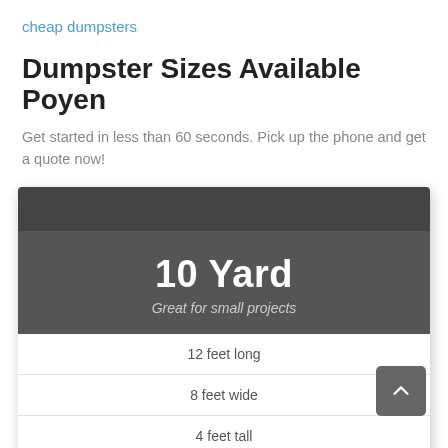cheap dumpsters
Dumpster Sizes Available Poyen
Get started in less than 60 seconds. Pick up the phone and get a quote now!
10 Yard
Great for small projects
12 feet long
8 feet wide
4 feet tall